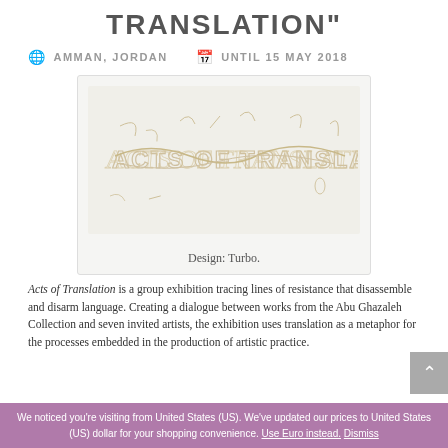TRANSLATION"
AMMAN, JORDAN   UNTIL 15 MAY 2018
[Figure (illustration): Decorative calligraphic logo combining Arabic script and Latin text reading ACTS OF TRANSLATION, rendered as outline/stroke lettering in a sandy/gold color on a light beige background]
Design: Turbo.
Acts of Translation is a group exhibition tracing lines of resistance that disassemble and disarm language. Creating a dialogue between works from the Abu Ghazaleh Collection and seven invited artists, the exhibition uses translation as a metaphor for the processes embedded in the production of artistic practice.
We noticed you're visiting from United States (US). We've updated our prices to United States (US) dollar for your shopping convenience. Use Euro instead. Dismiss